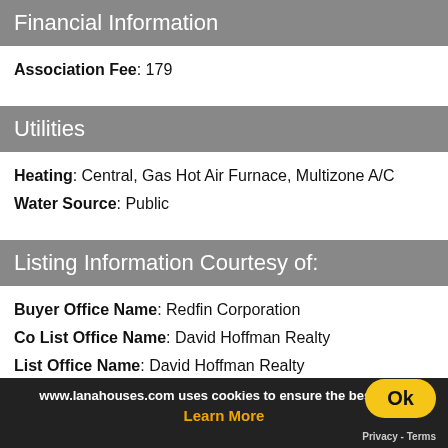Financial Information
Association Fee: 179
Utilities
Heating: Central, Gas Hot Air Furnace, Multizone A/C
Water Source: Public
Listing Information Courtesy of:
Buyer Office Name: Redfin Corporation
Co List Office Name: David Hoffman Realty
List Office Name: David Hoffman Realty
www.lanahouses.com uses cookies to ensure the best expe... Learn More